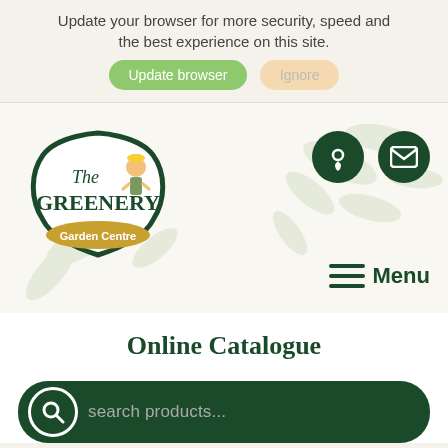Update your browser for more security, speed and the best experience on this site.
Update browser   Ignore
[Figure (logo): The Greenery Garden Centre logo — dark green decorative badge with cartoon gardener character and gold 'Garden Centre' banner]
[Figure (infographic): Dark green circular location pin icon button]
[Figure (infographic): Dark green circular envelope/mail icon button]
Menu
Online Catalogue
search products...